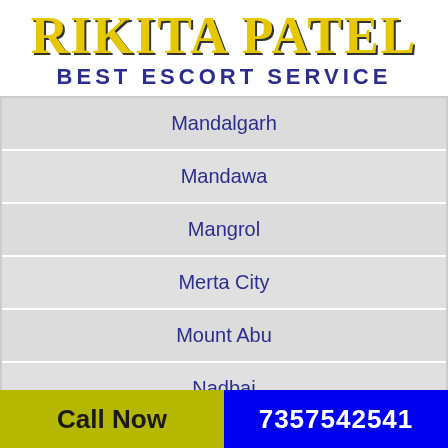RIKITA PATEL BEST ESCORT SERVICE
Mandalgarh
Mandawa
Mangrol
Merta City
Mount Abu
Nadbai
Call Now  7357542541